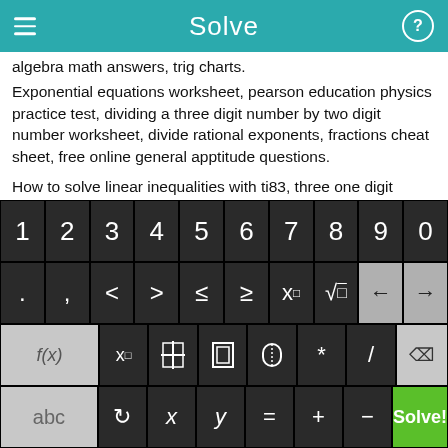Solve
algebra math answers, trig charts.
Exponential equations worksheet, pearson education physics practice test, dividing a three digit number by two digit number worksheet, divide rational exponents, fractions cheat sheet, free online general apptitude questions.
How to solve linear inequalities with ti83, three one digit Integers + worksheets, simplifying square roots answers, algebra method of elimination calculator, system of linear inequalities
[Figure (screenshot): On-screen math keyboard with rows: digits 1-0, symbols (. , < > ≤ ≥ x□ √□ back-arrow forward-arrow), function row (f(x) x□ fraction absolute-value parentheses * / backspace), and bottom row (abc ↺ x y = + - Solve! button)]